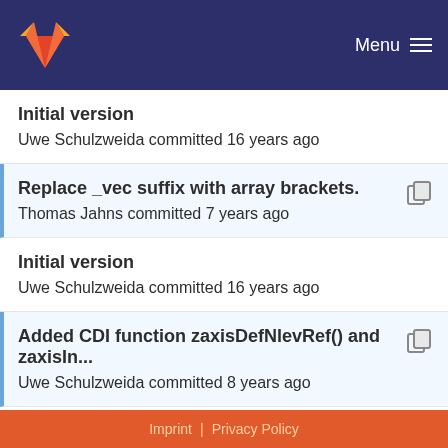Menu
Initial version
Uwe Schulzweida committed 16 years ago
Replace _vec suffix with array brackets.
Thomas Jahns committed 7 years ago
Initial version
Uwe Schulzweida committed 16 years ago
Added CDI function zaxisDefNlevRef() and zaxisIn...
Uwe Schulzweida committed 8 years ago
Imprint | Privacy Policy